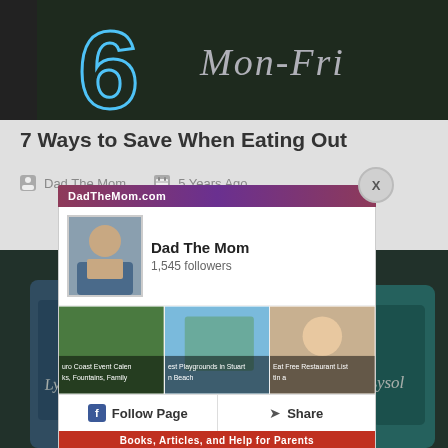[Figure (photo): Dark chalkboard background with cursive text 'Mon-Fri' and a large outlined number '6' in blue on the left]
7 Ways to Save When Eating Out
Dad The Mom   5 Years Ago
[Figure (screenshot): Facebook page popup for 'Dad The Mom' with 1,545 followers, showing Follow Page and Share buttons, with profile photo and three article preview images. Header shows DadTheMom.com URL. Bottom red bar shows 'Books, Articles, and Help for Parents']
[Figure (photo): Photo of cleaning product bottles including Lysol, Pledge, and other spray bottles arranged in a dark background]